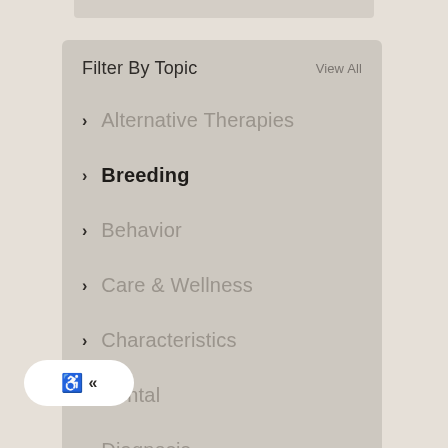Filter By Topic
View All
Alternative Therapies
Breeding
Behavior
Care & Wellness
Characteristics
Dental
Diagnosis
Emergency Situations